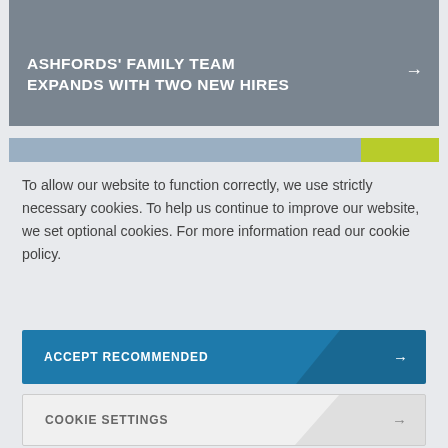[Figure (screenshot): Dark grey banner image with white bold uppercase text 'ASHFORDS' FAMILY TEAM EXPANDS WITH TWO NEW HIRES' and a right arrow icon on the right side]
[Figure (screenshot): Partial blue-grey banner image with a yellow-green rectangle on the right side, partially visible]
To allow our website to function correctly, we use strictly necessary cookies. To help us continue to improve our website, we set optional cookies. For more information read our cookie policy.
ACCEPT RECOMMENDED →
COOKIE SETTINGS →